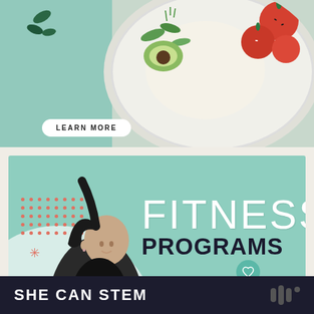[Figure (photo): Top banner with mint/teal background and food bowl photo (salad bowl with tomatoes, avocado, rice and greens) on right side]
LEARN MORE
[Figure (photo): Fitness programs promotional card with mint green background, woman lifting dumbbells, dot grid decoration, white arc, wave pattern, and social media UI elements (heart/like count 17, share button). Text: FITNESS PROGRAMS, WHICH PROGRAM IS RIGHT FOR YOU?]
FITNESS PROGRAMS
WHICH PROGRAM IS RIGHT FOR YOU?
17
WHAT'S NEXT → Is MyFitnessP...
SHE CAN STEM